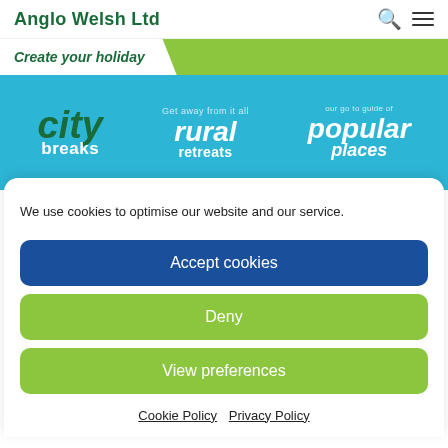Anglo Welsh Ltd
[Figure (infographic): Anglo Welsh Ltd website header with holiday category options: city breaks, rural retreats, popular places on a teal/green background with 'Create your holiday' banner]
We use cookies to optimise our website and our service.
Accept cookies
Deny
View preferences
Cookie Policy   Privacy Policy